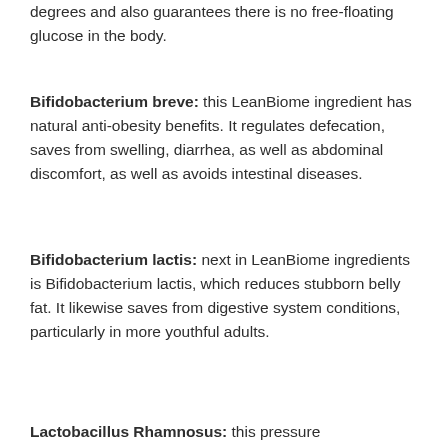degrees and also guarantees there is no free-floating glucose in the body.
Bifidobacterium breve: this LeanBiome ingredient has natural anti-obesity benefits. It regulates defecation, saves from swelling, diarrhea, as well as abdominal discomfort, as well as avoids intestinal diseases.
Bifidobacterium lactis: next in LeanBiome ingredients is Bifidobacterium lactis, which reduces stubborn belly fat. It likewise saves from digestive system conditions, particularly in more youthful adults.
Lactobacillus Rhamnosus: this pressure